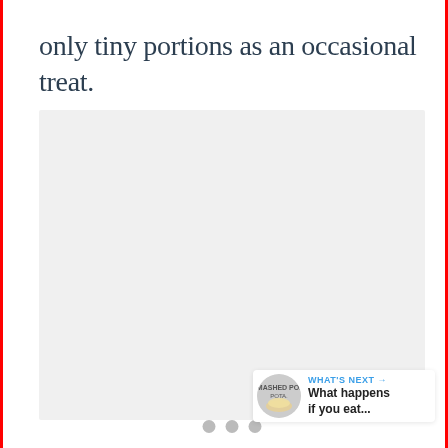only tiny portions as an occasional treat.
[Figure (photo): Light gray placeholder image area with three dots indicating loading content]
[Figure (infographic): Heart (favorite) button — blue circle with white heart icon, and share button — white circle with blue share icon]
[Figure (infographic): What's Next card: thumbnail image of mashed potatoes dish with text 'WHAT'S NEXT → What happens if you eat...']